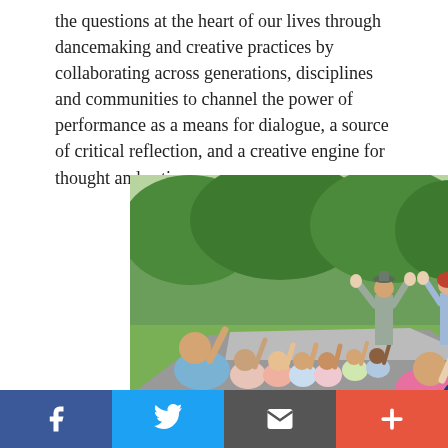the questions at the heart of our lives through dancemaking and creative practices by collaborating across generations, disciplines and communities to channel the power of performance as a means for dialogue, a source of critical reflection, and a creative engine for thought and action.
[Figure (photo): Outdoor group activity with children sitting on pavement raising hands while two adults stand before them with hands raised, set in a park with green trees in background.]
LANDLAB
Facebook | Twitter | Email | More